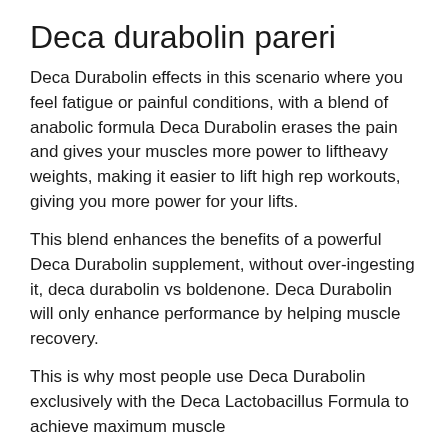Deca durabolin pareri
Deca Durabolin effects in this scenario where you feel fatigue or painful conditions, with a blend of anabolic formula Deca Durabolin erases the pain and gives your muscles more power to liftheavy weights, making it easier to lift high rep workouts, giving you more power for your lifts.
This blend enhances the benefits of a powerful Deca Durabolin supplement, without over-ingesting it, deca durabolin vs boldenone. Deca Durabolin will only enhance performance by helping muscle recovery.
This is why most people use Deca Durabolin exclusively with the Deca Lactobacillus Formula to achieve maximum muscle